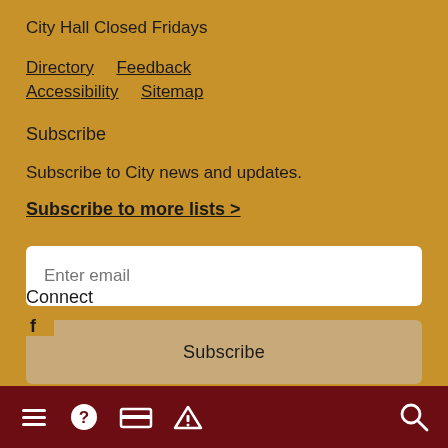City Hall Closed Fridays
Directory   Feedback
Accessibility   Sitemap
Subscribe
Subscribe to City news and updates.
Subscribe to more lists >
Enter email
Subscribe
Connect
Navigation toolbar with menu, help, payment, alert, and search icons